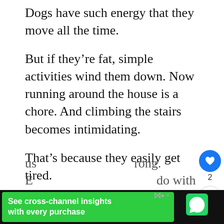Dogs have such energy that they move all the time.
But if they’re fat, simple activities wind them down. Now running around the house is a chore. And climbing the stairs becomes intimidating.
That’s because they easily get tired.
Caution: Losing interest in what they us... rong. E... do with...
[Figure (screenshot): Social sidebar with heart/like button showing count 2 and a share button]
[Figure (screenshot): What's Next card with image thumbnail and text '17 Reasons Why Your...']
[Figure (screenshot): Advertisement banner: green rectangle with text 'See cross-channel insights with every purchase', close buttons, and dark background with additional text on right]